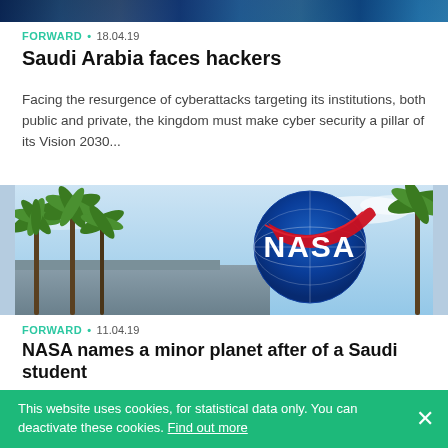[Figure (photo): Dark blue/teal banner image strip at top of page, appears to be a cropped website header image]
FORWARD • 18.04.19
Saudi Arabia faces hackers
Facing the resurgence of cyberattacks targeting its institutions, both public and private, the kingdom must make cyber security a pillar of its Vision 2030...
[Figure (photo): Photo of the NASA logo/globe sign with palm trees visible in background against a blue sky]
FORWARD • 11.04.19
NASA names a minor planet after of a Saudi student
The United States National Aeronautics and Space
This website uses cookies, for statistical data only. You can deactivate these cookies. Find out more